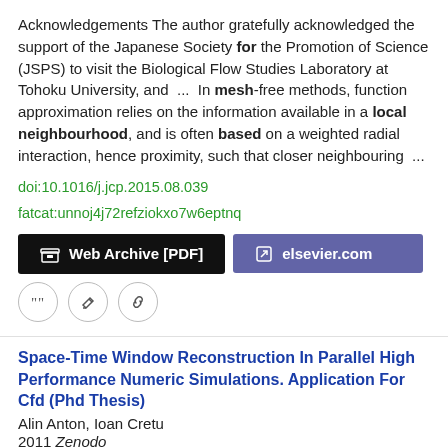Acknowledgements The author gratefully acknowledged the support of the Japanese Society for the Promotion of Science (JSPS) to visit the Biological Flow Studies Laboratory at Tohoku University, and  ...  In mesh-free methods, function approximation relies on the information available in a local neighbourhood, and is often based on a weighted radial interaction, hence proximity, such that closer neighbouring  ...
doi:10.1016/j.jcp.2015.08.039
fatcat:unnoj4j72refziokxo7w6eptnq
[Figure (other): Two buttons: 'Web Archive [PDF]' (black background) and 'elsevier.com' (purple background), followed by three icon circles (quote, edit, link).]
Space-Time Window Reconstruction In Parallel High Performance Numeric Simulations. Application For Cfd (Phd Thesis)
Alin Anton, Ioan Cretu
2011 Zenodo
This thesis proposes a new concept for dealing with large-scale, numerical simulation data.  ...  A regular computational fluid dynamic numerical simulation is done, shifted in time, and ...